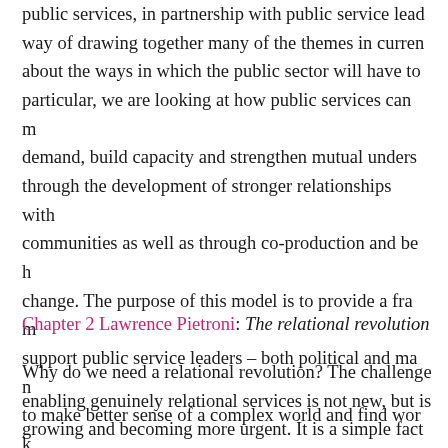public services, in partnership with public service leaders way of drawing together many of the themes in current about the ways in which the public sector will have to particular, we are looking at how public services can m demand, build capacity and strengthen mutual unders through the development of stronger relationships with communities as well as through co-production and beh change. The purpose of this model is to provide a fra support public service leaders – both political and man to make better sense of a complex world and find wor solutions to previously intractable problems.
Chapter 2 Lawrence Pietroni: The relational revolution
Why do we need a relational revolution? The challeng enabling genuinely relational services is not new, but i growing and becoming more urgent. It is a simple fact